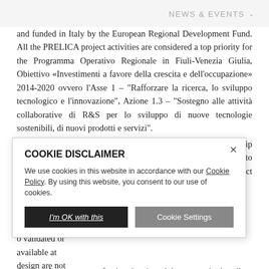NEWS & EVENTS
and funded in Italy by the European Regional Development Fund. All the PRELICA project activities are considered a top priority for the Programma Operativo Regionale in Fiuli-Venezia Giulia, Obiettivo «Investimenti a favore della crescita e dell'occupazione» 2014-2020 ovvero l'Asse 1 – "Rafforzare la ricerca, lo sviluppo tecnologico e l'innovazione", Azione 1.3 – "Sostegno alle attività collaborative di R&S per lo sviluppo di nuove tecnologie sostenibili, di nuovi prodotti e servizi".
The reduction of hydro-acoustic emissions caused by ship propellers plays an important role in naval engineering, as a way to enhance passenger comfort and minimise the environmental impact caused by ships during operation. In this regard,
d for aerospace left to be done for o validated or available at design are not accurately predict the complete spectrum of noise signals and they can only describe
[Figure (screenshot): Cookie disclaimer modal overlay with title 'COOKIE DISCLAIMER', body text about cookie policy, a close X button, and two buttons: 'I'm OK with this' (dark) and 'Cookie Settings' (grey).]